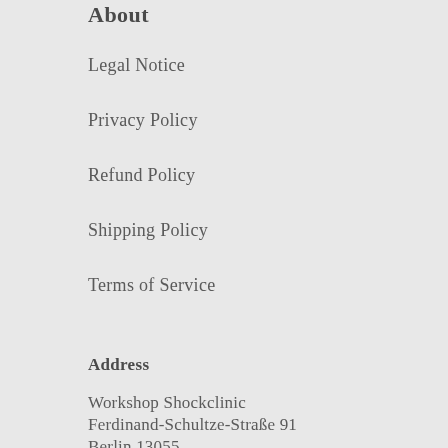About
Legal Notice
Privacy Policy
Refund Policy
Shipping Policy
Terms of Service
Address
Workshop Shockclinic
Ferdinand-Schultze-Straße 91
Berlin 13055